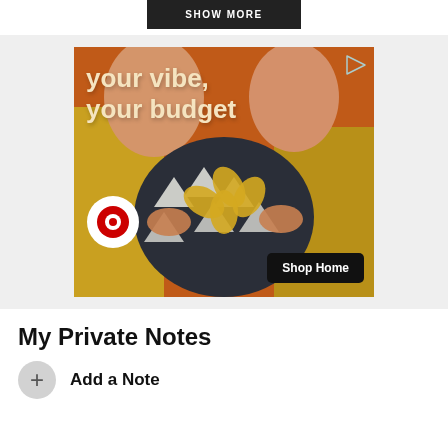[Figure (screenshot): Dark button at top center, partially visible, with white uppercase text (likely 'SHOW MORE')]
[Figure (photo): Target advertisement image showing a person holding a decorative pillow in front of an orange background. Text reads 'your vibe, your budget'. Target logo (bullseye) and 'Shop Home' button visible. Play icon in top right corner.]
My Private Notes
Add a Note